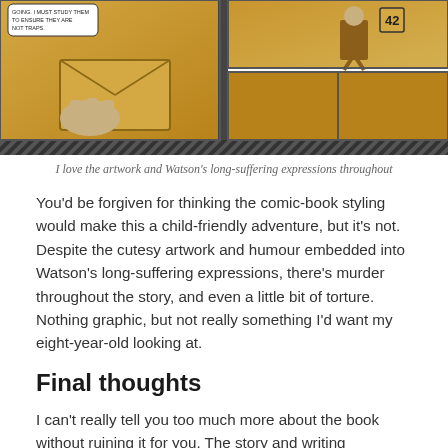[Figure (illustration): Comic book style illustration showing cartoon panels with characters, golden/yellow color scheme, with a page spine visible in the middle]
I love the artwork and Watson's long-suffering expressions throughout
You'd be forgiven for thinking the comic-book styling would make this a child-friendly adventure, but it's not. Despite the cutesy artwork and humour embedded into Watson's long-suffering expressions, there's murder throughout the story, and even a little bit of torture. Nothing graphic, but not really something I'd want my eight-year-old looking at.
Final thoughts
I can't really tell you too much more about the book without ruining it for you. The story and writing throughout is brilliant. It all feels very Holmesian, with a good splash of humour thrown in for good measure. It'll take you a few hours to play through, and there's probably not much